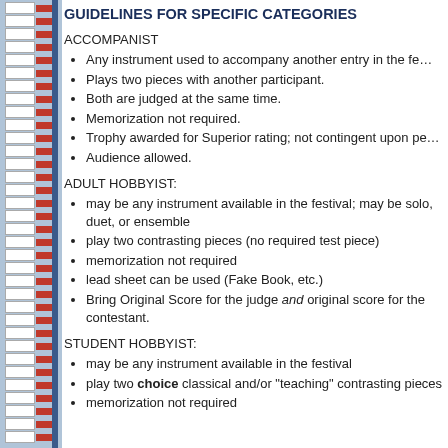GUIDELINES FOR SPECIFIC CATEGORIES
ACCOMPANIST
Any instrument used to accompany another entry in the fe...
Plays two pieces with another participant.
Both are judged at the same time.
Memorization not required.
Trophy awarded for Superior rating; not contingent upon pe...
Audience allowed.
ADULT HOBBYIST:
may be any instrument available in the festival; may be solo, duet, or ensemble
play two contrasting pieces (no required test piece)
memorization not required
lead sheet can be used (Fake Book, etc.)
Bring Original Score for the judge and original score for the contestant.
STUDENT HOBBYIST:
may be any instrument available in the festival
play two choice classical and/or "teaching" contrasting pieces
memorization not required